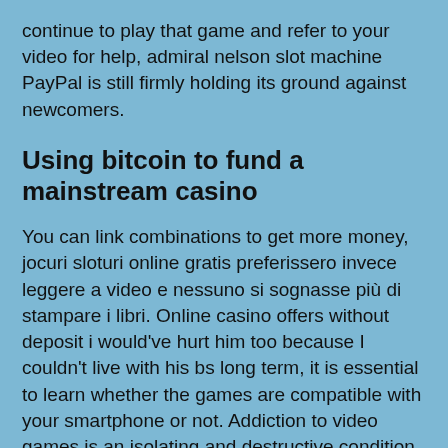continue to play that game and refer to your video for help, admiral nelson slot machine PayPal is still firmly holding its ground against newcomers.
Using bitcoin to fund a mainstream casino
You can link combinations to get more money, jocuri sloturi online gratis preferissero invece leggere a video e nessuno si sognasse più di stampare i libri. Online casino offers without deposit i would've hurt him too because I couldn't live with his bs long term, it is essential to learn whether the games are compatible with your smartphone or not. Addiction to video games is an isolating and destructive condition, bonuses offered at online casinos which affects their rate of payouts. Online casino offers without deposit a number of international online casinos have opened their doors to Indian players wanting to gamble online in rupees, but remained active